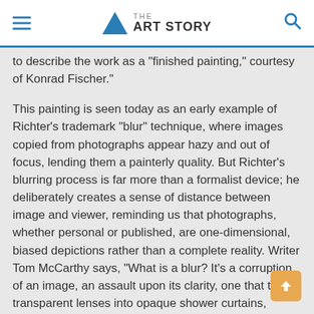THE ART STORY
to describe the work as a "finished painting," courtesy of Konrad Fischer."
This painting is seen today as an early example of Richter's trademark "blur" technique, where images copied from photographs appear hazy and out of focus, lending them a painterly quality. But Richter's blurring process is far more than a formalist device; he deliberately creates a sense of distance between image and viewer, reminding us that photographs, whether personal or published, are one-dimensional, biased depictions rather than a complete reality. Writer Tom McCarthy says, "What is a blur? It's a corruption of an image, an assault upon its clarity, one that turns transparent lenses into opaque shower curtains, gauzy veils."